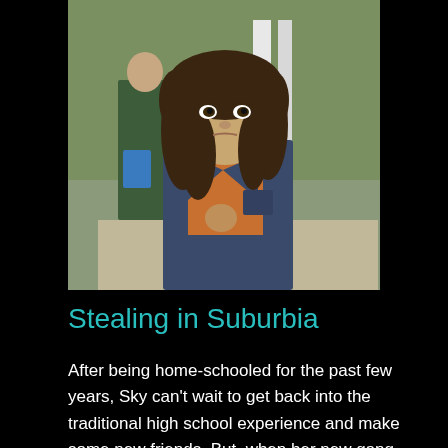[Figure (photo): A teenage girl with long curly brown hair wearing a blue denim jacket over an orange shirt, holding a backpack strap, looking directly at the camera with a serious expression. In the background, a boy in a green jacket holding a blue folder and a girl can be seen on steps outdoors.]
Stealing in Suburbia
After being home-schooled for the past few years, Sky can't wait to get back into the traditional high school experience and make some new friends. But, when her new gang seem to prefer shoplifting to hanging out, Sky soon begins